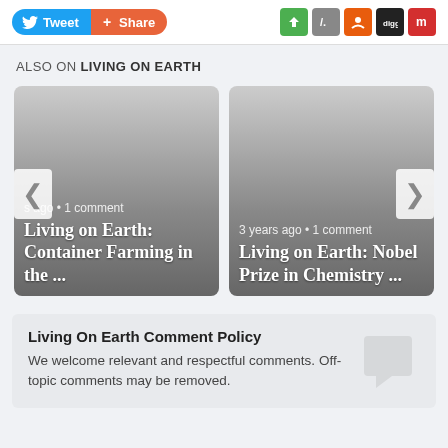[Figure (screenshot): Social sharing buttons: Tweet button (blue) and Share button (orange-red) on the left; social media icon buttons (green, gray, orange-red, dark, red) on the right]
ALSO ON LIVING ON EARTH
[Figure (screenshot): Carousel of two article cards: Left card shows 'Living on Earth: Container Farming in the ...' with '...s ago • 1 comment'; Right card shows 'Living on Earth: Nobel Prize in Chemistry ...' with '3 years ago • 1 comment'. Left and right navigation arrows visible.]
Living On Earth Comment Policy
We welcome relevant and respectful comments. Off-topic comments may be removed.